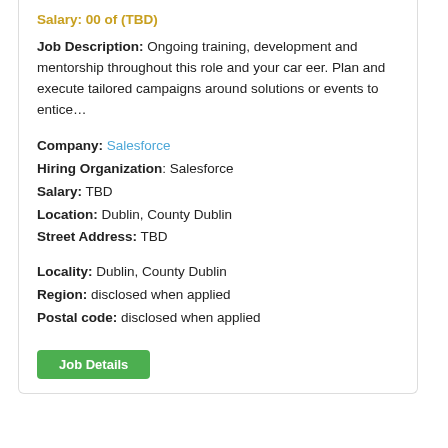Salary: 00 of (TBD)
Job Description: Ongoing training, development and mentorship throughout this role and your car eer. Plan and execute tailored campaigns around solutions or events to entice...
Company: Salesforce
Hiring Organization: Salesforce
Salary: TBD
Location: Dublin, County Dublin
Street Address: TBD
Locality: Dublin, County Dublin
Region: disclosed when applied
Postal code: disclosed when applied